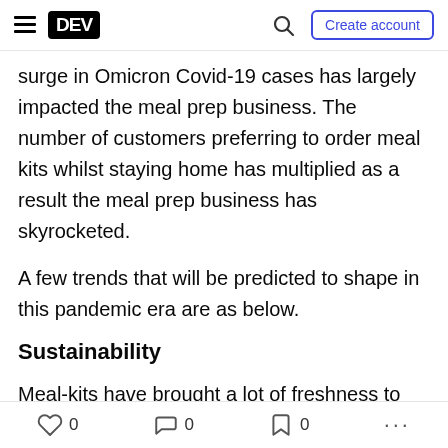DEV | Create account
surge in Omicron Covid-19 cases has largely impacted the meal prep business. The number of customers preferring to order meal kits whilst staying home has multiplied as a result the meal prep business has skyrocketed.
A few trends that will be predicted to shape in this pandemic era are as below.
Sustainability
Meal-kits have brought a lot of freshness to the food industry. Its inclination towards environment-friendly packaging is exceptionally huge as compared to
0  0  0  ...